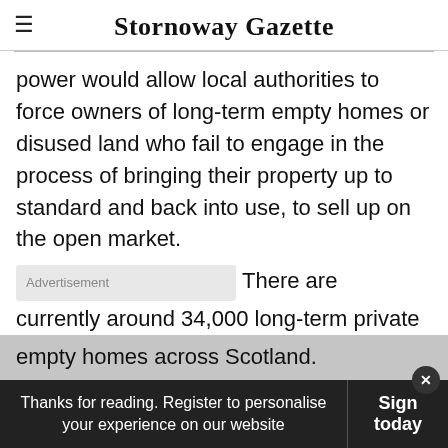Stornoway Gazette
power would allow local authorities to force owners of long-term empty homes or disused land who fail to engage in the process of bringing their property up to standard and back into use, to sell up on the open market.
There are currently around 34,000 long-term private empty homes across Scotland. Meanwhile, according to Shelter Scotland, 150,000 families
Thanks for reading. Register to personalise your experience on our website | Sign in today